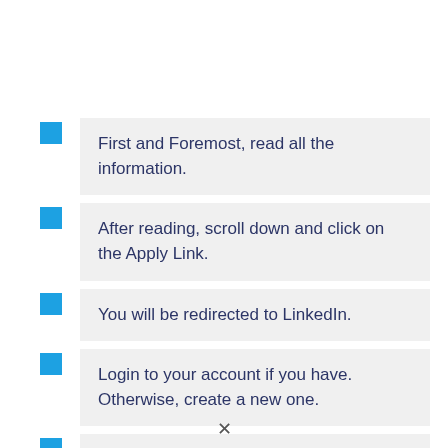First and Foremost, read all the information.
After reading, scroll down and click on the Apply Link.
You will be redirected to LinkedIn.
Login to your account if you have. Otherwise, create a new one.
Enter all the required fields, and submit